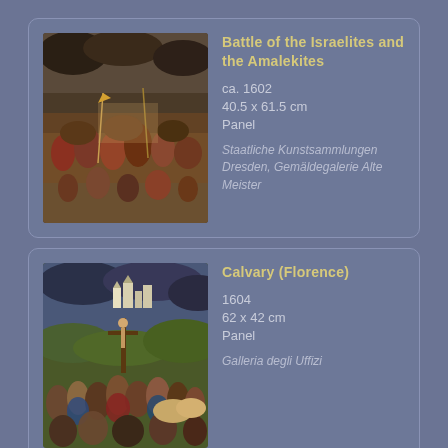[Figure (illustration): Painting: Battle of the Israelites and the Amalekites, ca. 1602, battle scene with soldiers on horseback and foot]
Battle of the Israelites and the Amalekites
ca. 1602
40.5 x 61.5 cm
Panel
Staatliche Kunstsammlungen Dresden, Gemäldegalerie Alte Meister
[Figure (illustration): Painting: Calvary (Florence), 1604, crowd scene with crucifixion landscape]
Calvary (Florence)
1604
62 x 42 cm
Panel
Galleria degli Uffizi